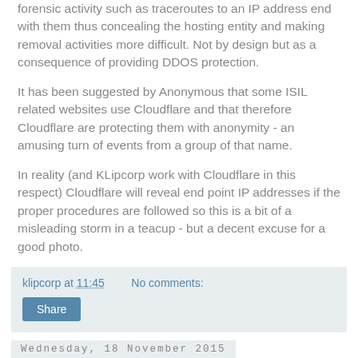forensic activity such as traceroutes to an IP address end with them thus concealing the hosting entity and making removal activities more difficult. Not by design but as a consequence of providing DDOS protection.
It has been suggested by Anonymous that some ISIL related websites use Cloudflare and that therefore Cloudflare are protecting them with anonymity - an amusing turn of events from a group of that name.
In reality (and KLipcorp work with Cloudflare in this respect) Cloudflare will reveal end point IP addresses if the proper procedures are followed so this is a bit of a misleading storm in a teacup - but a decent excuse for a good photo.
klipcorp at 11:45    No comments:
Share
Wednesday, 18 November 2015
The dark side of digital needs